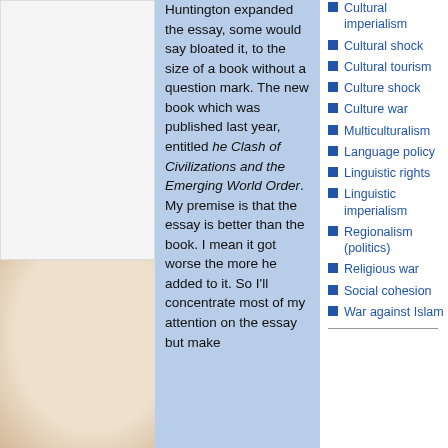Huntington expanded the essay, some would say bloated it, to the size of a book without a question mark. The new book which was published last year, entitled he Clash of Civilizations and the Emerging World Order. My premise is that the essay is better than the book. I mean it got worse the more he added to it. So I'll concentrate most of my attention on the essay but make
Cultural imperialism
Cultural shock
Cultural tourism
Culture shock
Culture war
Multiculturalism
Language policy
Linguistic rights
Linguistic imperialism
Regionalism (politics)
Religious war
Social cohesion
War against Islam